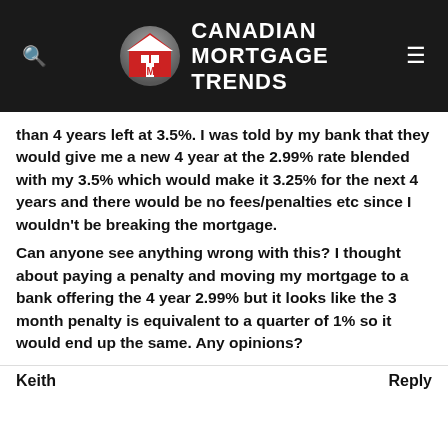[Figure (logo): Canadian Mortgage Trends logo with CMT red house icon and white bold text on dark background]
than 4 years left at 3.5%. I was told by my bank that they would give me a new 4 year at the 2.99% rate blended with my 3.5% which would make it 3.25% for the next 4 years and there would be no fees/penalties etc since I wouldn't be breaking the mortgage.
Can anyone see anything wrong with this? I thought about paying a penalty and moving my mortgage to a bank offering the 4 year 2.99% but it looks like the 3 month penalty is equivalent to a quarter of 1% so it would end up the same. Any opinions?
Keith
Reply